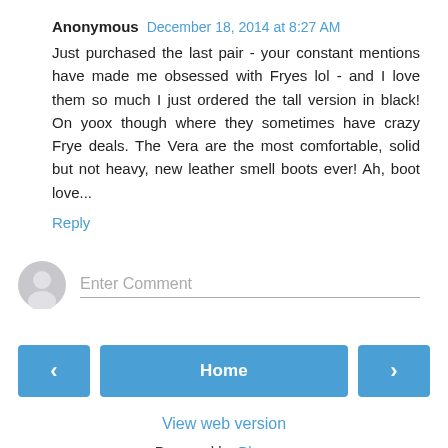Anonymous December 18, 2014 at 8:27 AM
Just purchased the last pair - your constant mentions have made me obsessed with Fryes lol - and I love them so much I just ordered the tall version in black! On yoox though where they sometimes have crazy Frye deals. The Vera are the most comfortable, solid but not heavy, new leather smell boots ever! Ah, boot love...
Reply
Enter Comment
Home
View web version
Powered by Blogger.